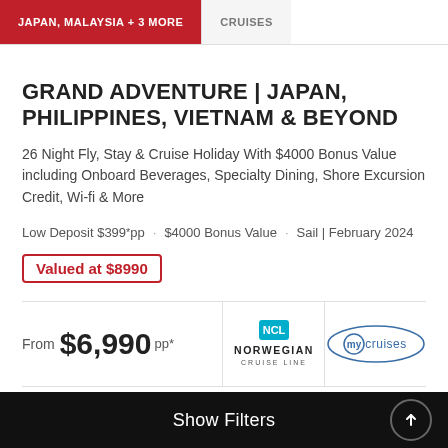JAPAN, MALAYSIA + 3 MORE | CRUISES
GRAND ADVENTURE | JAPAN, PHILIPPINES, VIETNAM & BEYOND
26 Night Fly, Stay & Cruise Holiday With $4000 Bonus Value including Onboard Beverages, Specialty Dining, Shore Excursion Credit, Wi-fi & More
Low Deposit $399*pp · $4000 Bonus Value · Sail | February 2024
Valued at $8990
From $6,990 pp*
[Figure (logo): Norwegian Cruise Line logo]
[Figure (logo): MyCruises logo]
Show Filters